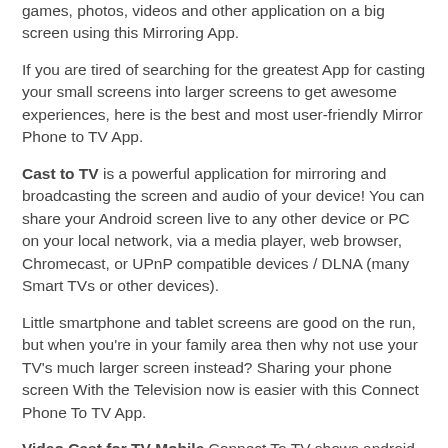games, photos, videos and other application on a big screen using this Mirroring App.
If you are tired of searching for the greatest App for casting your small screens into larger screens to get awesome experiences, here is the best and most user-friendly Mirror Phone to TV App.
Cast to TV is a powerful application for mirroring and broadcasting the screen and audio of your device! You can share your Android screen live to any other device or PC on your local network, via a media player, web browser, Chromecast, or UPnP compatible devices / DLNA (many Smart TVs or other devices).
Little smartphone and tablet screens are good on the run, but when you're in your family area then why not use your TV's much larger screen instead? Sharing your phone screen With the Television now is easier with this Connect Phone To TV App.
Video Cast for TV Mobile Connect To TV shows android device display to your smart tv. watch favorite shows or Sports on your